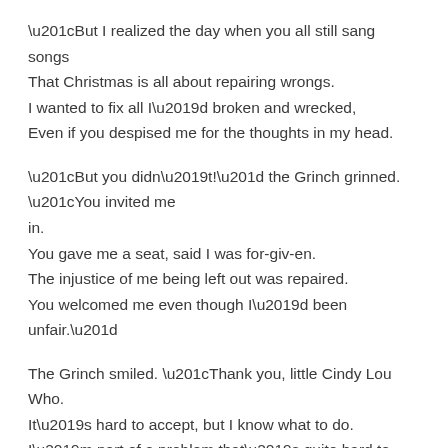“But I realized the day when you all still sang songs That Christmas is all about repairing wrongs. I wanted to fix all I’d broken and wrecked, Even if you despised me for the thoughts in my head.
“But you didn’t!” the Grinch grinned. “You invited me in. You gave me a seat, said I was for-giv-en. The injustice of me being left out was repaired. You welcomed me even though I’d been unfair.”
The Grinch smiled. “Thank you, little Cindy Lou Who. It’s hard to accept, but I know what to do. I’m part of a problem that’s quite hard to see, But you know what? I’m stronger than its secrecy.